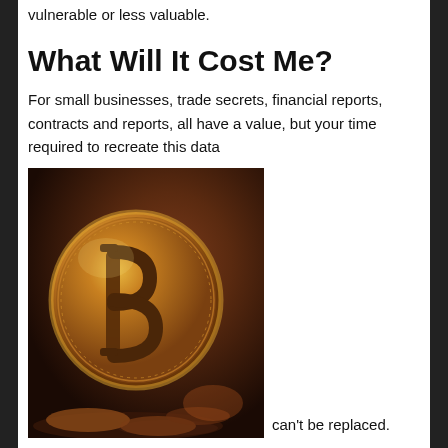vulnerable or less valuable.
What Will It Cost Me?
For small businesses, trade secrets, financial reports, contracts and reports, all have a value, but your time required to recreate this data
[Figure (photo): Close-up photograph of a gold Bitcoin coin standing upright among other coins, with a blurred warm brown background.]
can't be replaced.  As an individual, your personal financial data may have a value, but pictures of family